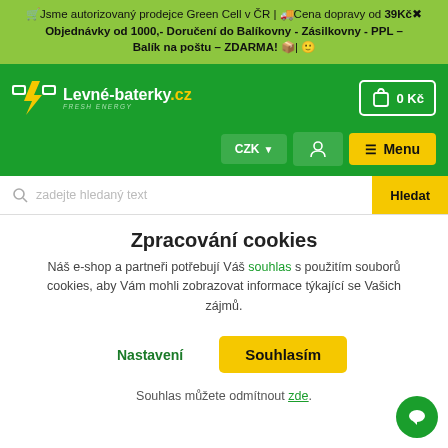🛒Jsme autorizovaný prodejce Green Cell v ČR | 🚚Cena dopravy od 39Kč✖ Objednávky od 1000,- Doručení do Balíkovny - Zásilkovny - PPL – Balík na poštu – ZDARMA! 📦 | 🙂
[Figure (screenshot): Levné-baterky.cz logo with lightning bolt icon and shopping cart showing 0 Kč]
[Figure (screenshot): Navigation controls: CZK currency selector, user icon, and yellow Menu button]
[Figure (screenshot): Search bar with placeholder text 'zadejte hledaný text' and yellow Hledat button]
Zpracování cookies
Náš e-shop a partneři potřebují Váš souhlas s použitím souborů cookies, aby Vám mohli zobrazovat informace týkající se Vašich zájmů.
Nastavení
Souhlasím
Souhlas můžete odmítnout zde.